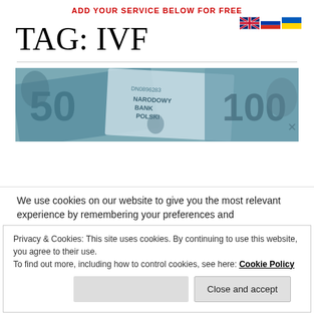ADD YOUR SERVICE BELOW FOR FREE
TAG: IVF
[Figure (photo): Polish banknotes (50 and 100 PLN, Narodowy Bank Polski) scattered on a surface, blue-green tones]
We use cookies on our website to give you the most relevant experience by remembering your preferences and
Privacy & Cookies: This site uses cookies. By continuing to use this website, you agree to their use.
To find out more, including how to control cookies, see here: Cookie Policy
Close and accept